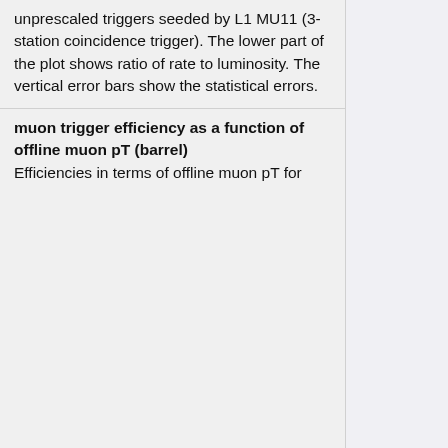unprescaled triggers seeded by L1 MU11 (3-station coincidence trigger). The lower part of the plot shows ratio of rate to luminosity. The vertical error bars show the statistical errors.
muon trigger efficiency as a function of offline muon pT (barrel) Efficiencies in terms of offline muon pT for